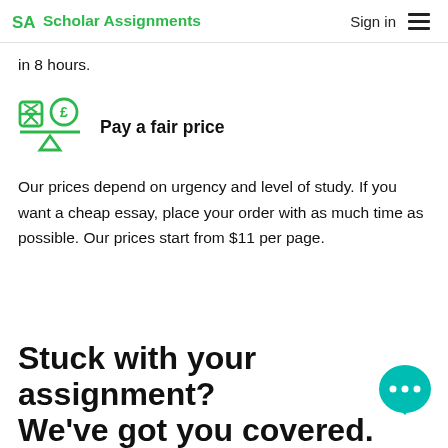SA Scholar Assignments  Sign in
in 8 hours.
[Figure (illustration): Green icon showing a balance scale with an hourglass on the left and a pound/currency symbol on the right, with a triangle beneath the balance bar]
Pay a fair price
Our prices depend on urgency and level of study. If you want a cheap essay, place your order with as much time as possible. Our prices start from $11 per page.
Stuck with your assignment? We've got you covered.